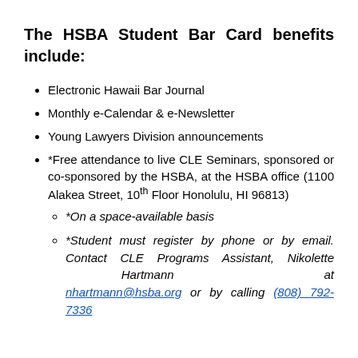The HSBA Student Bar Card benefits include:
Electronic Hawaii Bar Journal
Monthly e-Calendar & e-Newsletter
Young Lawyers Division announcements
*Free attendance to live CLE Seminars, sponsored or co-sponsored by the HSBA, at the HSBA office (1100 Alakea Street, 10th Floor Honolulu, HI 96813)
*On a space-available basis
*Student must register by phone or by email. Contact CLE Programs Assistant, Nikolette Hartmann at nhartmann@hsba.org or by calling (808) 792-7336